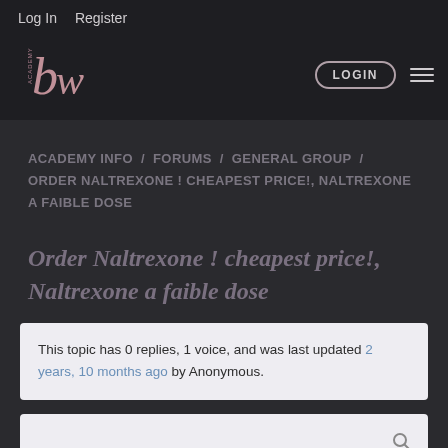Log In   Register
[Figure (logo): Academy BW logo - stylized 'bw' letters in dark pink/rose color with 'ACADEMY' text vertically on left side]
LOGIN
ACADEMY INFO / FORUMS / GENERAL GROUP / ORDER NALTREXONE ! CHEAPEST PRICE!, NALTREXONE A FAIBLE DOSE
Order Naltrexone ! cheapest price!, Naltrexone a faible dose
This topic has 0 replies, 1 voice, and was last updated 2 years, 10 months ago by Anonymous.